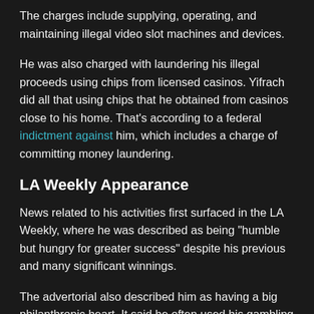The charges include supplying, operating, and maintaining illegal video slot machines and devices.
He was also charged with laundering his illegal proceeds using chips from licensed casinos. Yifrach did all that using chips that he obtained from casinos close to his home. That's according to a federal indictment against him, which includes a charge of committing money laundering.
LA Weekly Appearance
News related to his activities first surfaced in the LA Weekly, where he was described as being "humble but hungry for greater success" despite his previous and many significant winnings.
The advertorial also described him as having a big philanthropic heart. It said he often used his gambling fortunes to help the needy. And that he strongly believes in creating